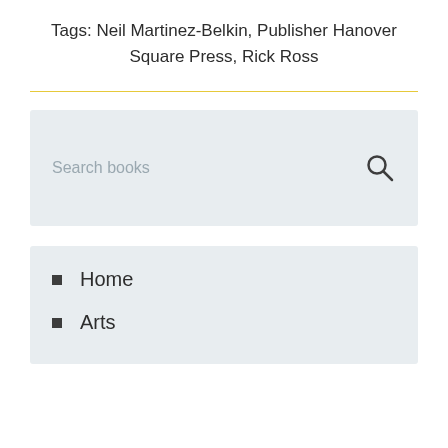Tags: Neil Martinez-Belkin, Publisher Hanover Square Press, Rick Ross
[Figure (other): Search books input box with search icon]
Home
Arts